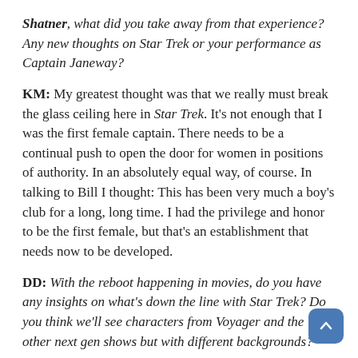Shatner, what did you take away from that experience? Any new thoughts on Star Trek or your performance as Captain Janeway?
KM: My greatest thought was that we really must break the glass ceiling here in Star Trek. It's not enough that I was the first female captain. There needs to be a continual push to open the door for women in positions of authority. In an absolutely equal way, of course. In talking to Bill I thought: This has been very much a boy's club for a long, long time. I had the privilege and honor to be the first female, but that's an establishment that needs now to be developed.
DD: With the reboot happening in movies, do you have any insights on what's down the line with Star Trek? Do you think we'll see characters from Voyager and the other next gen shows but with different backgrounds?
KM: They've worked long and hard for the past few years on the prequel notion. But I think they should go on and develop